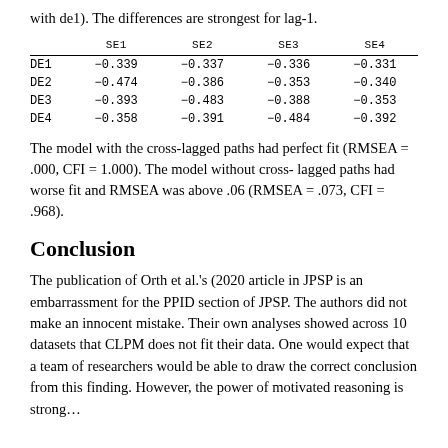with de1). The differences are strongest for lag-1.
|  | SE1 | SE2 | SE3 | SE4 |
| --- | --- | --- | --- | --- |
| DE1 | -0.339 | -0.337 | -0.336 | -0.331 |
| DE2 | -0.474 | -0.386 | -0.353 | -0.340 |
| DE3 | -0.393 | -0.483 | -0.388 | -0.353 |
| DE4 | -0.358 | -0.391 | -0.484 | -0.392 |
The model with the cross-lagged paths had perfect fit (RMSEA = .000, CFI = 1.000). The model without cross-lagged paths had worse fit and RMSEA was above .06 (RMSEA = .073, CFI = .968).
Conclusion
The publication of Orth et al.'s (2020 article in JPSP is an embarrassment for the PPID section of JPSP. The authors did not make an innocent mistake. Their own analyses showed across 10 datasets that CLPM does not fit their data. One would expect that a team of researchers would be able to draw the correct conclusion from this finding. However, the power of motivated reasoning is strong…